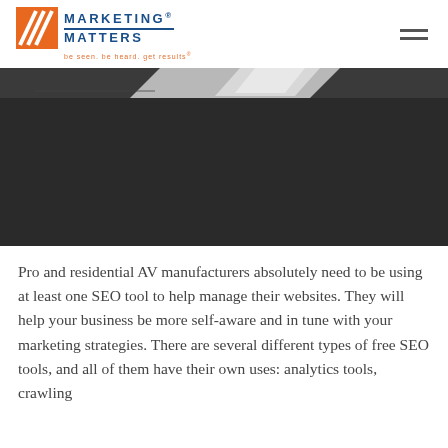[Figure (logo): Marketing Matters logo with orange and navy blue icon, text 'MARKETING MATTERS' in navy blue, tagline 'be seen. be heard. get results®' in orange]
[Figure (photo): Dark background hero image, partially visible with a white angular shape (possibly a device) at upper left]
Pro and residential AV manufacturers absolutely need to be using at least one SEO tool to help manage their websites. They will help your business be more self-aware and in tune with your marketing strategies. There are several different types of free SEO tools, and all of them have their own uses: analytics tools, crawling